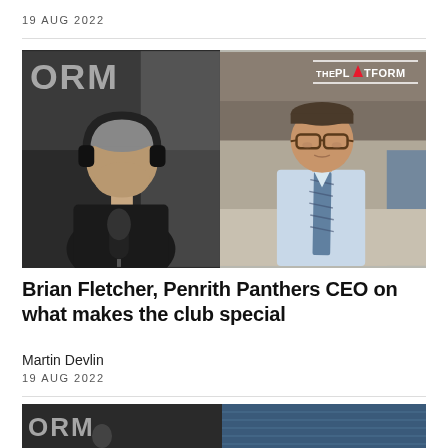19 AUG 2022
[Figure (photo): Two-panel image: left panel shows a man with headphones at a microphone in a radio studio with partial 'ORM' text visible; right panel shows a man in a light blue shirt and plaid tie with 'THE PLATFORM' logo overlay in upper right corner.]
Brian Fletcher, Penrith Panthers CEO on what makes the club special
Martin Devlin
19 AUG 2022
[Figure (photo): Bottom partial preview of another article thumbnail showing partial 'ORM' text on dark background with a blue-toned panel to the right.]